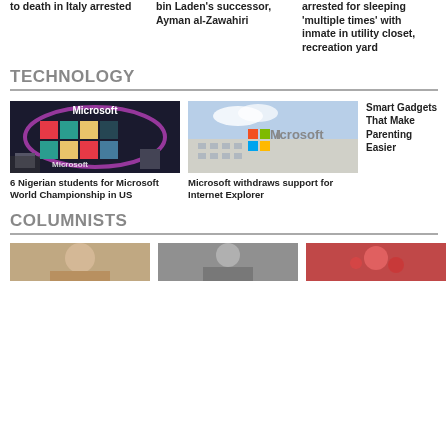to death in Italy arrested
bin Laden's successor, Ayman al-Zawahiri
arrested for sleeping 'multiple times' with inmate in utility closet, recreation yard
TECHNOLOGY
[Figure (photo): Microsoft expo booth with colorful display screens and people walking around]
[Figure (photo): Microsoft building exterior with logo sign showing colorful Windows tiles]
Smart Gadgets That Make Parenting Easier
6 Nigerian students for Microsoft World Championship in US
Microsoft withdraws support for Internet Explorer
COLUMNISTS
[Figure (photo): Columnist photo 1]
[Figure (photo): Columnist photo 2]
[Figure (photo): Columnist photo 3]